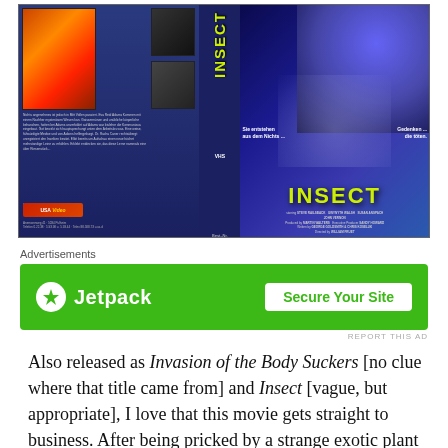[Figure (photo): VHS cover of the movie 'Insect' showing a German language back cover on the left with two small movie stills, center spine with title text 'INSECT' in yellow vertical lettering, and right side showing the front cover with alien insect monster artwork, two human figures, taglines 'Sie entstehen aus dem Nichts...' and 'Gedenken... die töten.' in yellow, the title INSECT in large yellow block letters, and credits listing Steve Railsback, Gwynyth Walsh, Susan Anspach, John Vernon, produced by Martin Walters, Executive Producer Sandy Howard, Written by George Goldsmith & Chris Koseluk, Directed by William Fruet. USA Vision VHS label.]
Advertisements
[Figure (screenshot): Jetpack advertisement banner with green background. Left side shows Jetpack logo (lightning bolt icon in white circle) and 'Jetpack' text in white. Right side shows white button with green text 'Secure Your Site'. Below banner: 'REPORT THIS AD' text in small gray letters.]
Also released as Invasion of the Body Suckers [no clue where that title came from] and Insect [vague, but appropriate], I love that this movie gets straight to business. After being pricked by a strange exotic plant and